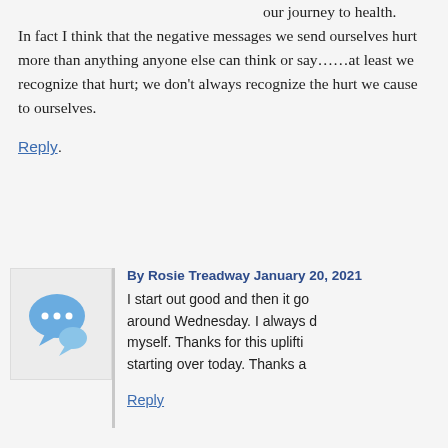our journey to health. In fact I think that the negative messages we send ourselves hurt more than anything anyone else can think or say……at least we recognize that hurt; we don't always recognize the hurt we cause to ourselves.
Reply
By Rosie Treadway January 20, 2021
I start out good and then it go around Wednesday. I always d myself. Thanks for this uplifti starting over today. Thanks a
Reply